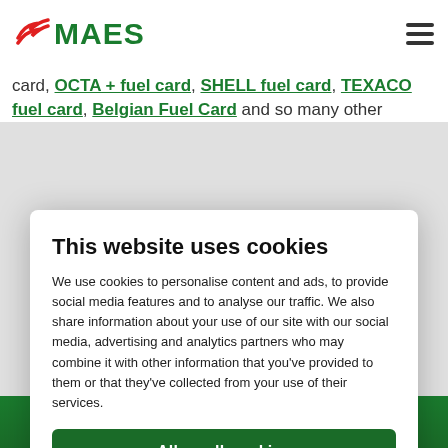MAES
card, OCTA + fuel card, SHELL fuel card, TEXACO fuel card, Belgian Fuel Card and so many other
This website uses cookies
We use cookies to personalise content and ads, to provide social media features and to analyse our traffic. We also share information about your use of our site with our social media, advertising and analytics partners who may combine it with other information that you've provided to them or that they've collected from your use of their services.
Allow all cookies
Allow selection
Use necessary cookies only
Necessary  Preferences  Statistics  Marketing  Show details